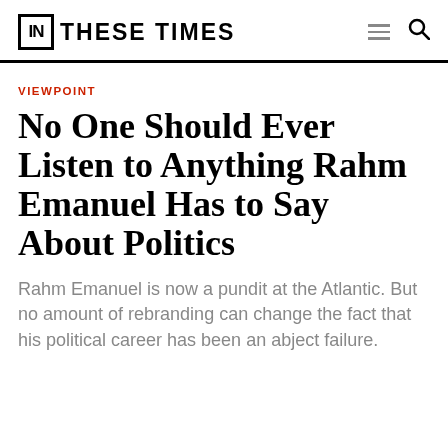IN THESE TIMES
VIEWPOINT
No One Should Ever Listen to Anything Rahm Emanuel Has to Say About Politics
Rahm Emanuel is now a pundit at the Atlantic. But no amount of rebranding can change the fact that his political career has been an abject failure.